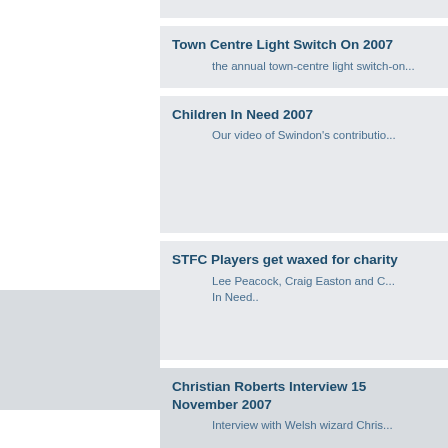Town Centre Light Switch On 2007
the annual town-centre light switch-on...
Children In Need 2007
Our video of Swindon's contributio...
STFC Players get waxed for charity
Lee Peacock, Craig Easton and C... In Need..
Christian Roberts Interview 15 November 2007
Interview with Welsh wizard Chris...
Driving Swindon Forward
Official Launch of the Swindon Ec...